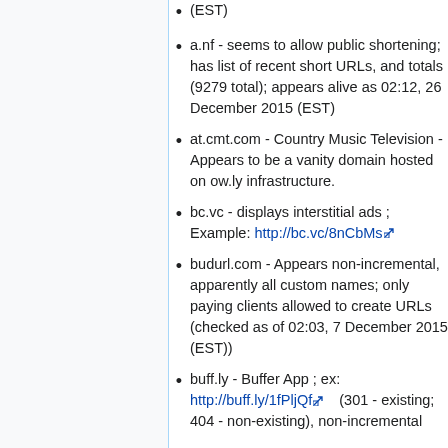(EST)
a.nf - seems to allow public shortening; has list of recent short URLs, and totals (9279 total); appears alive as 02:12, 26 December 2015 (EST)
at.cmt.com - Country Music Television - Appears to be a vanity domain hosted on ow.ly infrastructure.
bc.vc - displays interstitial ads ; Example: http://bc.vc/8nCbMs
budurl.com - Appears non-incremental, apparently all custom names; only paying clients allowed to create URLs (checked as of 02:03, 7 December 2015 (EST))
buff.ly - Buffer App ; ex: http://buff.ly/1fPljQf (301 - existing; 404 - non-existing), non-incremental